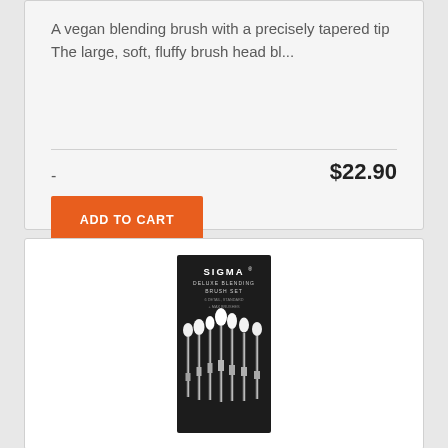A vegan blending brush with a precisely tapered tip The large, soft, fluffy brush head bl...
-
$22.90
ADD TO CART
[Figure (photo): Sigma Deluxe Blending Brush Set product box showing multiple blending brushes with white fluffy heads and silver/black handles arranged in a fan pattern inside a black box]